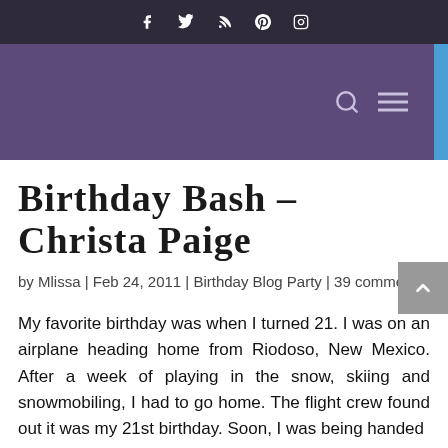Social icons: Facebook, Twitter, RSS, Pinterest, Instagram
Navigation bar with search and menu icons
Birthday Bash – Christa Paige
by Mlissa | Feb 24, 2011 | Birthday Blog Party | 39 comments
My favorite birthday was when I turned 21. I was on an airplane heading home from Riodoso, New Mexico. After a week of playing in the snow, skiing and snowmobiling, I had to go home. The flight crew found out it was my 21st birthday. Soon, I was being handed